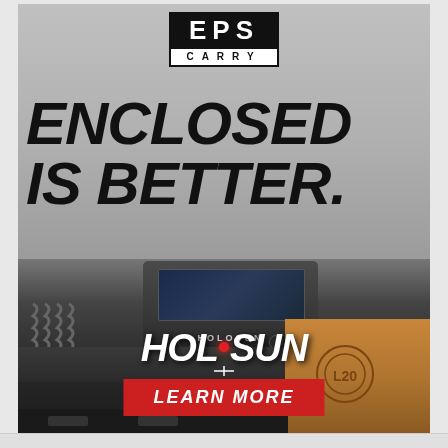[Figure (photo): Holosun EPS Carry advertisement showing an enclosed pistol red dot sight mounted on a handgun slide. Features the EPS CARRY logo at top, bold italic text 'ENCLOSED IS BETTER.', the Holosun brand logo with red dot, and a 'LEARN MORE' call-to-action button. Background shows a gray gradient with the optic and handgun slide prominently displayed.]